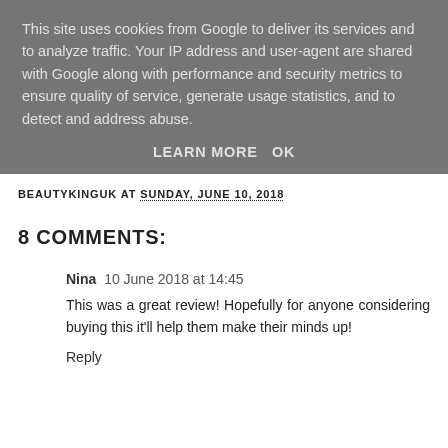This site uses cookies from Google to deliver its services and to analyze traffic. Your IP address and user-agent are shared with Google along with performance and security metrics to ensure quality of service, generate usage statistics, and to detect and address abuse.
LEARN MORE   OK
BEAUTYKINGUK AT SUNDAY, JUNE 10, 2018
8 COMMENTS:
Nina  10 June 2018 at 14:45
This was a great review! Hopefully for anyone considering buying this it'll help them make their minds up!
Reply